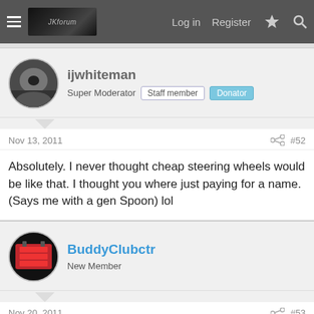Log in  Register
ijwhiteman
Super Moderator  Staff member  Donator
Nov 13, 2011  #52
Absolutely. I never thought cheap steering wheels would be like that. I thought you where just paying for a name. (Says me with a gen Spoon) lol
BuddyClubctr
New Member
Nov 20, 2011  #53
guys i have a question...i bought all my 9 parts from ebay...most of them were brands but some other a few cheap usd and diff staff and nothing was bad or no good fitting or no good quality!!!! just first check the comments of the item if it has warranty to be